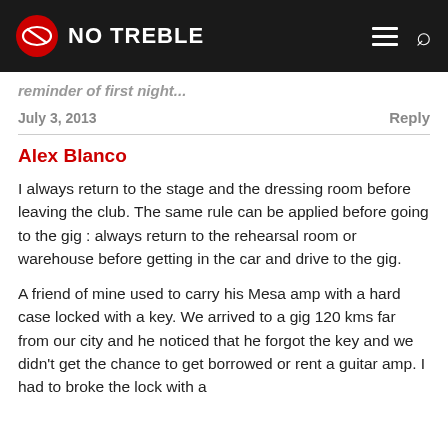NO TREBLE
reminder of first night...
July 3, 2013    Reply
Alex Blanco
I always return to the stage and the dressing room before leaving the club. The same rule can be applied before going to the gig : always return to the rehearsal room or warehouse before getting in the car and drive to the gig.
A friend of mine used to carry his Mesa amp with a hard case locked with a key. We arrived to a gig 120 kms far from our city and he noticed that he forgot the key and we didn't get the chance to get borrowed or rent a guitar amp. I had to broke the lock with a